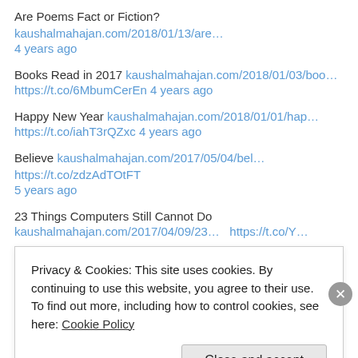Are Poems Fact or Fiction? kaushalmahajan.com/2018/01/13/are… 4 years ago
Books Read in 2017 kaushalmahajan.com/2018/01/03/boo… https://t.co/6MbumCerEn 4 years ago
Happy New Year kaushalmahajan.com/2018/01/01/hap… https://t.co/iahT3rQZxc 4 years ago
Believe kaushalmahajan.com/2017/05/04/bel… https://t.co/zdzAdTOtFT 5 years ago
23 Things Computers Still Cannot Do kaushalmahajan.com/2017/04/09/23… https://t.co/YWM6UziY2l
Privacy & Cookies: This site uses cookies. By continuing to use this website, you agree to their use. To find out more, including how to control cookies, see here: Cookie Policy